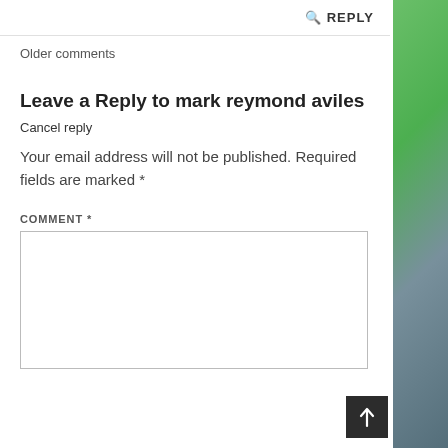🔍 REPLY
Older comments
Leave a Reply to mark reymond aviles Cancel reply
Your email address will not be published. Required fields are marked *
COMMENT *